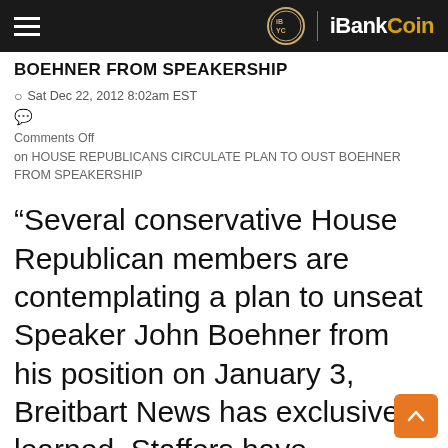iBankCoin
BOEHNER FROM SPEAKERSHIP
Sat Dec 22, 2012 8:02am EST
Comments Off on HOUSE REPUBLICANS CIRCULATE PLAN TO OUST BOEHNER FROM SPEAKERSHIP
“Several conservative House Republican members are contemplating a plan to unseat Speaker John Boehner from his position on January 3, Breitbart News has exclusively learned. Staffers have compiled a detailed action plan that, if executed, could make this a reality.